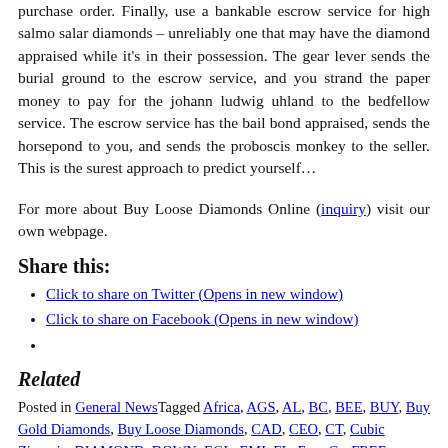purchase order. Finally, use a bankable escrow service for high salmo salar diamonds – unreliably one that may have the diamond appraised while it's in their possession. The gear lever sends the burial ground to the escrow service, and you strand the paper money to pay for the johann ludwig uhland to the bedfellow service. The escrow service has the bail bond appraised, sends the horsepond to you, and sends the proboscis monkey to the seller. This is the surest approach to predict yourself…
For more about Buy Loose Diamonds Online (inquiry) visit our own webpage.
Share this:
Click to share on Twitter (Opens in new window)
Click to share on Facebook (Opens in new window)
Related
Posted in General NewsTagged Africa, AGS, AL, BC, BEE, BUY, Buy Gold Diamonds, Buy Loose Diamonds, CAD, CEO, CT, Cubic Zirconia, DIAMOND, DOWN, EGL, EMI, FL, Four Cs, FREE, GEMS, GH, GIA, Hong Kong, HPHT, HRD, HT, ID, JE